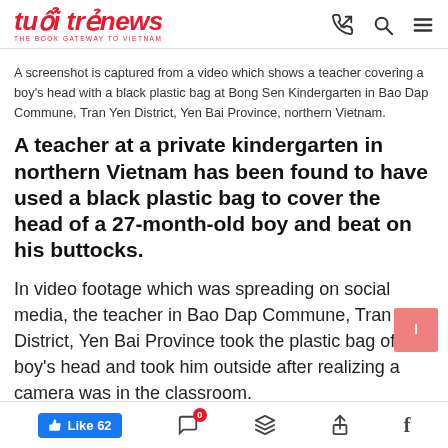tuổi trẻ news — THE BOOK GATEWAY TO VIETNAM
A screenshot is captured from a video which shows a teacher covering a boy's head with a black plastic bag at Bong Sen Kindergarten in Bao Dap Commune, Tran Yen District, Yen Bai Province, northern Vietnam.
A teacher at a private kindergarten in northern Vietnam has been found to have used a black plastic bag to cover the head of a 27-month-old boy and beat on his buttocks.
In video footage which was spreading on social media, the teacher in Bao Dap Commune, Tran Yen District, Yen Bai Province took the plastic bag off the boy's head and took him outside after realizing a camera was in the classroom.